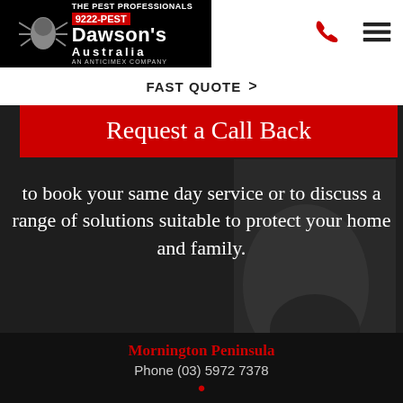[Figure (logo): Dawson's Australia pest professionals logo with spider graphic, phone number 9222-PEST, and AN ANTICIMEX COMPANY tagline]
FAST QUOTE >
Request a Call Back
[Figure (photo): Background photo of a pest control technician in dark gloves working]
to book your same day service or to discuss a range of solutions suitable to protect your home and family.
Mornington Peninsula
Phone (03) 5972 7378